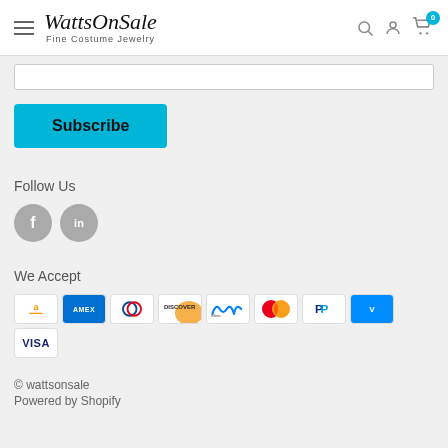WattsOnSale Fine Costume Jewelry
[Figure (screenshot): Subscribe button (teal/cyan background)]
Follow Us
[Figure (infographic): Social media icons: Facebook (f) and LinkedIn (in) as grey circles]
We Accept
[Figure (infographic): Payment method icons: Amazon, American Express, Diners Club, Discover, Meta, Mastercard, PayPal, Venmo, Visa]
© wattsonsale
Powered by Shopify